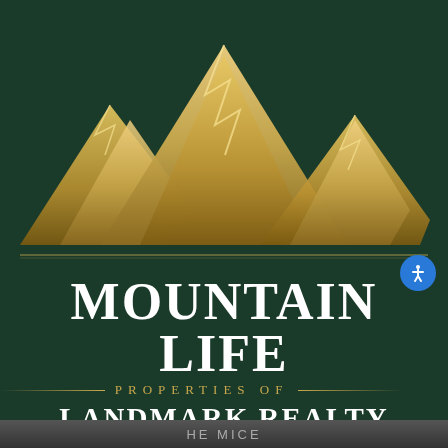[Figure (logo): Mountain Life Properties of Landmark Realty Group logo. Dark forest green background with a gold mountain range illustration (three peaks). Below the mountains is a horizontal gold divider line, then large white bold text 'MOUNTAIN LIFE', followed by a gold decorative line with 'PROPERTIES OF' in gold spaced lettering centered between two gold lines, then large white bold text 'LANDMARK REALTY GROUP'.]